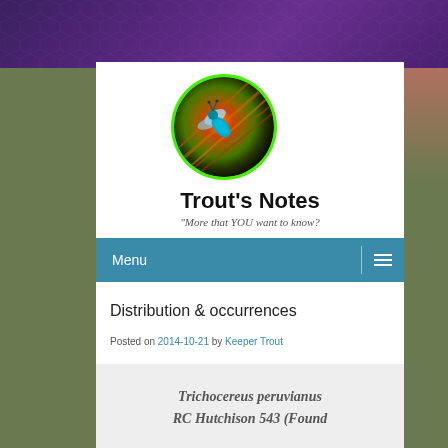[Figure (logo): Circular logo with green border showing a bee/insect on a colorful abstract background of orange, red, green and teal colors]
Trout's Notes
"More that YOU want to know?
Menu
Distribution & occurrences
Posted on 2014-10-21 by Keeper Trout
Trichocereus peruvianus RC Hutchison 543 (Found